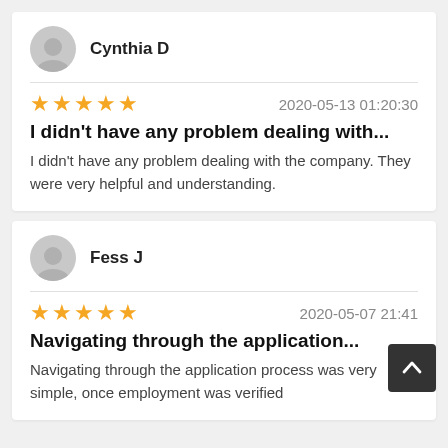Cynthia D
2020-05-13 01:20:30
I didn't have any problem dealing with...
I didn't have any problem dealing with the company. They were very helpful and understanding.
Fess J
2020-05-07 21:41
Navigating through the application...
Navigating through the application process was very simple, once employment was verified